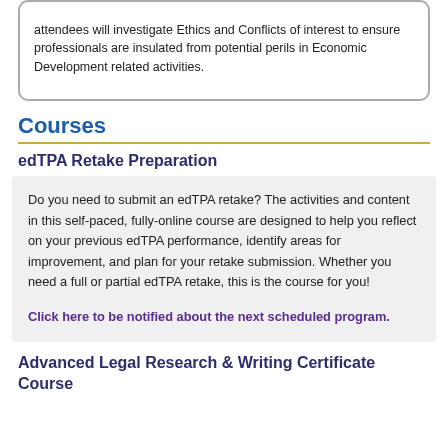attendees will investigate Ethics and Conflicts of interest to ensure professionals are insulated from potential perils in Economic Development related activities.
Courses
edTPA Retake Preparation
Do you need to submit an edTPA retake? The activities and content in this self-paced, fully-online course are designed to help you reflect on your previous edTPA performance, identify areas for improvement, and plan for your retake submission. Whether you need a full or partial edTPA retake, this is the course for you!
Click here to be notified about the next scheduled program.
Advanced Legal Research & Writing Certificate Course